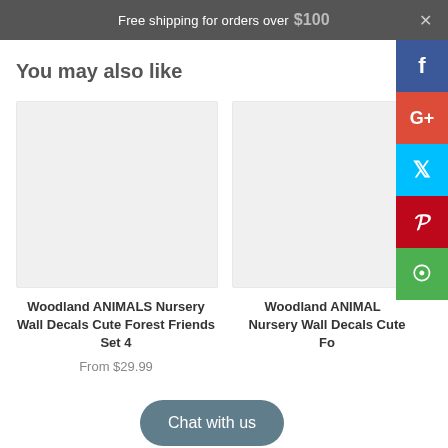Free shipping for orders over $100
You may also like
[Figure (photo): Product image placeholder for Woodland ANIMALS Nursery Wall Decals Cute Forest Friends Set 4]
Woodland ANIMALS Nursery Wall Decals Cute Forest Friends Set 4
From $29.99
[Figure (photo): Product image placeholder for Woodland ANIMALS Nursery Wall Decals Cute Forest Friends (partially visible)]
Woodland ANIMALS Nursery Wall Decals Cute Fo...
[Figure (other): Social share sidebar with Facebook, Google+, Twitter, Pinterest, WhatsApp buttons]
Chat with us